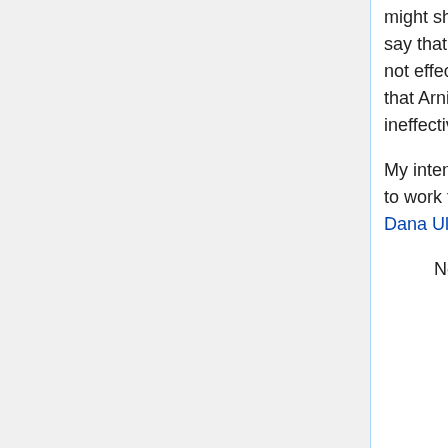might show that it is ineffective. One should not say that the "weight of evidence" is that Arnica is not effective. Instead, it is more accurate to say that Arnica is effective one condition but ineffective for two others. Get it now? I hope so...
My intention is not to "fight." My intention is for us to work together to provide verifable accuracy. Dana Ullman 22:37, 14 September 2010 (UTC)
Now I am confused. When you challenged